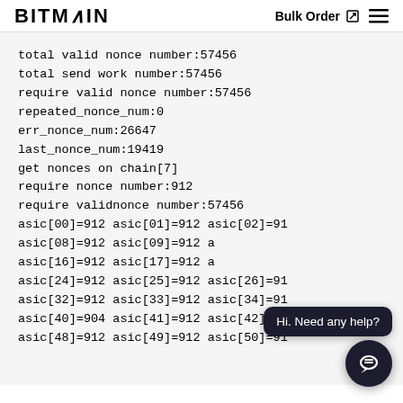BITMAIN  Bulk Order  ☰
total valid nonce number:57456
total send work number:57456
require valid nonce number:57456
repeated_nonce_num:0
err_nonce_num:26647
last_nonce_num:19419
get nonces on chain[7]
require nonce number:912
require validnonce number:57456
asic[00]=912 asic[01]=912 asic[02]=91...
asic[08]=912 asic[09]=912 a...
asic[16]=912 asic[17]=912 a...
asic[24]=912 asic[25]=912 asic[26]=91...
asic[32]=912 asic[33]=912 asic[34]=91...
asic[40]=904 asic[41]=912 asic[42]=91...
asic[48]=912 asic[49]=912 asic[50]=91...